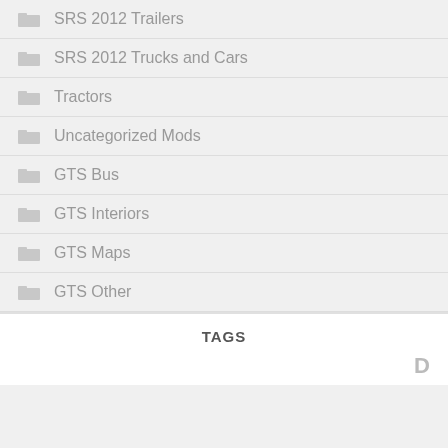SRS 2012 Trailers
SRS 2012 Trucks and Cars
Tractors
Uncategorized Mods
GTS Bus
GTS Interiors
GTS Maps
GTS Other
TAGS